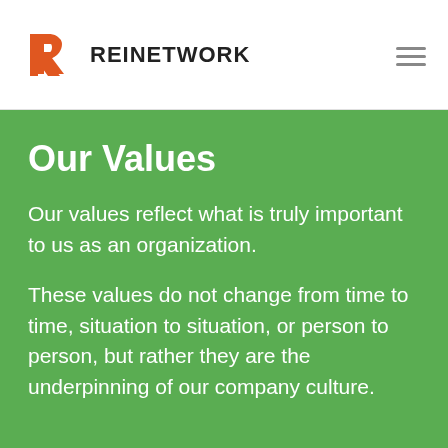REINETWORK
Our Values
Our values reflect what is truly important to us as an organization.
These values do not change from time to time, situation to situation, or person to person, but rather they are the underpinning of our company culture.